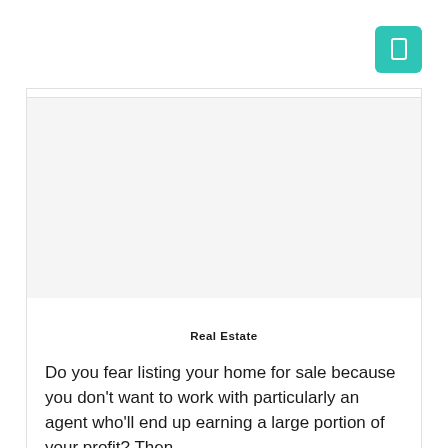[Figure (other): Teal/turquoise square button icon with a rectangle/bookmark symbol in white, positioned top-right corner]
[Figure (photo): Large blank/white image placeholder area inside a card]
Real Estate
Do you fear listing your home for sale because you don't want to work with particularly an agent who'll end up earning a large portion of your profit? Then